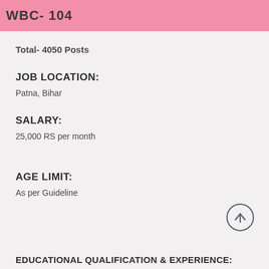WBC- 104
Total- 4050 Posts
JOB LOCATION:
Patna, Bihar
SALARY:
25,000 RS per month
AGE LIMIT:
As per Guideline
EDUCATIONAL QUALIFICATION & EXPERIENCE: